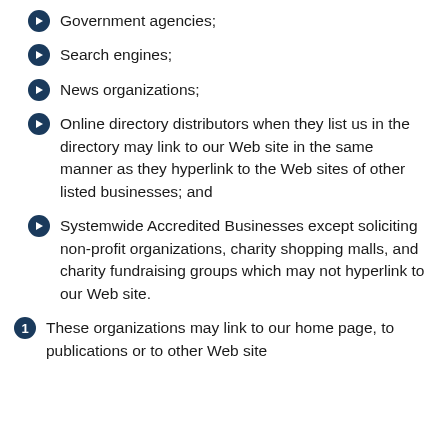Government agencies;
Search engines;
News organizations;
Online directory distributors when they list us in the directory may link to our Web site in the same manner as they hyperlink to the Web sites of other listed businesses; and
Systemwide Accredited Businesses except soliciting non-profit organizations, charity shopping malls, and charity fundraising groups which may not hyperlink to our Web site.
These organizations may link to our home page, to publications or to other Web site